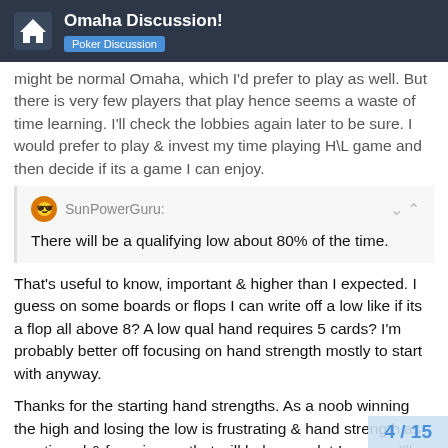Omaha Discussion! | Poker Discussion
might be normal Omaha, which I'd prefer to play as well. But there is very few players that play hence seems a waste of time learning. I'll check the lobbies again later to be sure. I would prefer to play & invest my time playing H\L game and then decide if its a game I can enjoy.
SunPowerGuru: There will be a qualifying low about 80% of the time.
That's useful to know, important & higher than I expected. I guess on some boards or flops I can write off a low like if its a flop all above 8? A low qual hand requires 5 cards? I'm probably better off focusing on hand strength mostly to start with anyway.
Thanks for the starting hand strengths. As a noob winning the high and losing the low is frustrating & hand strength as mentioned & focusing on that will help me a lot Im sure. I'll need to rewire hand strengths.
4 / 15